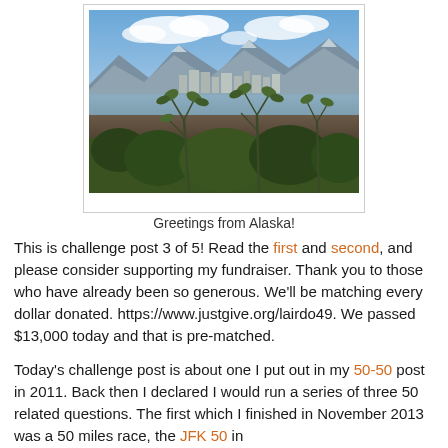[Figure (photo): Photograph of Anchorage, Alaska skyline viewed from across mud flats with green shrubs/vegetation in foreground, calm water in middle ground, city buildings and mountains in background under partly cloudy blue sky.]
Greetings from Alaska!
This is challenge post 3 of 5! Read the first and second, and please consider supporting my fundraiser. Thank you to those who have already been so generous. We'll be matching every dollar donated. https://www.justgive.org/lairdo49. We passed $13,000 today and that is pre-matched.
Today's challenge post is about one I put out in my 50-50 post in 2011. Back then I declared I would run a series of three 50 related questions. The first which I finished in November 2013 was a 50 miles race, the JFK 50 in...